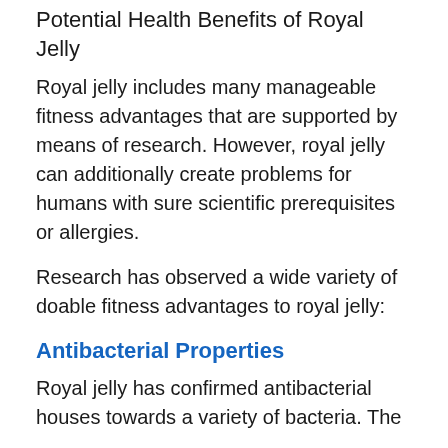Potential Health Benefits of Royal Jelly
Royal jelly includes many manageable fitness advantages that are supported by means of research. However, royal jelly can additionally create problems for humans with sure scientific prerequisites or allergies.
Research has observed a wide variety of doable fitness advantages to royal jelly:
Antibacterial Properties
Royal jelly has confirmed antibacterial houses towards a variety of bacteria. The